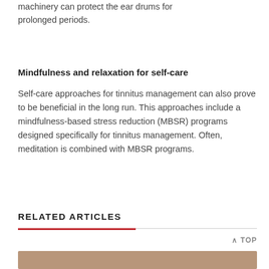protecting the ears while operating heavy machinery can protect the ear drums for prolonged periods.
Mindfulness and relaxation for self-care
Self-care approaches for tinnitus management can also prove to be beneficial in the long run. This approaches include a mindfulness-based stress reduction (MBSR) programs designed specifically for tinnitus management. Often, meditation is combined with MBSR programs.
RELATED ARTICLES
[Figure (photo): Bottom partial photo of a person, partially visible at the bottom of the page]